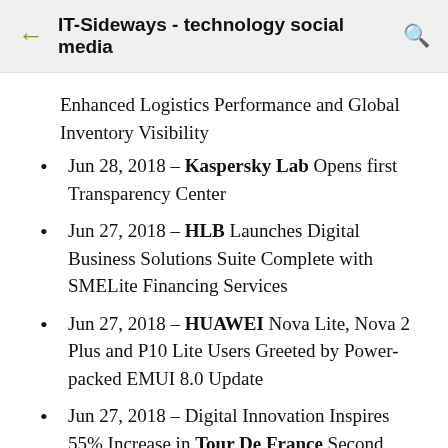IT-Sideways - technology social media
Enhanced Logistics Performance and Global Inventory Visibility
Jun 28, 2018 – Kaspersky Lab Opens first Transparency Center
Jun 27, 2018 – HLB Launches Digital Business Solutions Suite Complete with SMELite Financing Services
Jun 27, 2018 – HUAWEI Nova Lite, Nova 2 Plus and P10 Lite Users Greeted by Power-packed EMUI 8.0 Update
Jun 27, 2018 – Digital Innovation Inspires 55% Increase in Tour De France Second